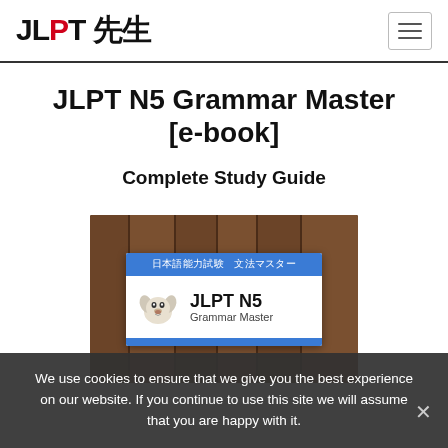JLPT 先生
JLPT N5 Grammar Master [e-book]
Complete Study Guide
[Figure (illustration): E-book cover showing JLPT N5 Grammar Master book with a dog illustration on a wooden background. Blue header strip with Japanese text '日本語能力試験　文法マスター', then white area with dog icon, bold 'JLPT N5' text and 'Grammar Master' subtitle, followed by blue footer strip.]
We use cookies to ensure that we give you the best experience on our website. If you continue to use this site we will assume that you are happy with it.